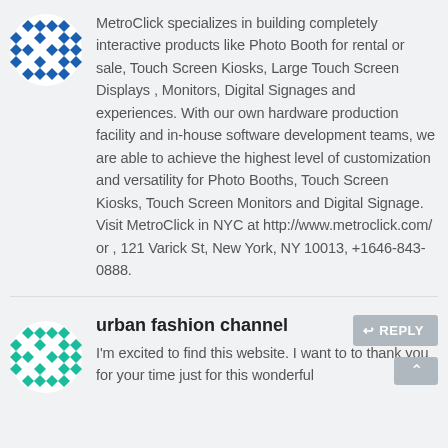[Figure (logo): Blue diamond/cross pattern circular logo for MetroClick]
MetroClick specializes in building completely interactive products like Photo Booth for rental or sale, Touch Screen Kiosks, Large Touch Screen Displays , Monitors, Digital Signages and experiences. With our own hardware production facility and in-house software development teams, we are able to achieve the highest level of customization and versatility for Photo Booths, Touch Screen Kiosks, Touch Screen Monitors and Digital Signage. Visit MetroClick in NYC at http://www.metroclick.com/ or , 121 Varick St, New York, NY 10013, +1646-843-0888.
[Figure (logo): Teal/green diamond/cross pattern circular logo for urban fashion channel]
urban fashion channel
I'm excited to find this website. I want to to thank you for your time just for this wonderful